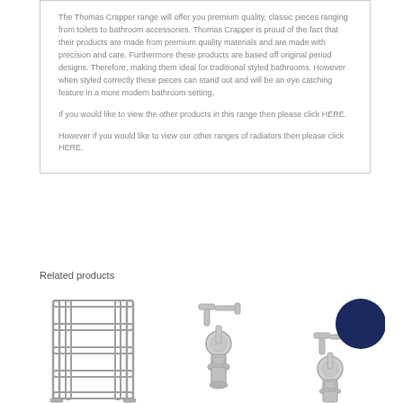The Thomas Crapper range will offer you premium quality, classic pieces ranging from toilets to bathroom accessories. Thomas Crapper is proud of the fact that their products are made from premium quality materials and are made with precision and care. Furthermore these products are based off original period designs. Therefore, making them ideal for traditional styled bathrooms. However when styled correctly these pieces can stand out and will be an eye catching feature in a more modern bathroom setting.

If you would like to view the other products in this range then please click HERE.

However if you would like to view our other ranges of radiators then please click HERE.
Related products
[Figure (photo): A chrome towel radiator with horizontal bars, shown in a rectangular frame style]
[Figure (photo): A chrome radiator valve fitting]
[Figure (photo): A chrome radiator valve fitting with a dark navy blue circle overlay]